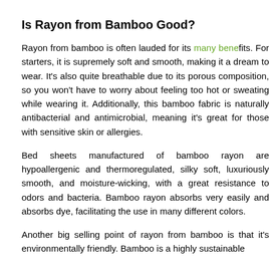Is Rayon from Bamboo Good?
Rayon from bamboo is often lauded for its many benefits. For starters, it is supremely soft and smooth, making it a dream to wear. It's also quite breathable due to its porous composition, so you won't have to worry about feeling too hot or sweaty while wearing it. Additionally, this bamboo fabric is naturally antibacterial and antimicrobial, meaning it's great for those with sensitive skin or allergies.
Bed sheets manufactured of bamboo rayon are hypoallergenic and thermoregulated, silky soft, luxuriously smooth, and moisture-wicking, with a great resistance to odors and bacteria. Bamboo rayon absorbs very easily and absorbs dye, facilitating the use in many different colors.
Another big selling point of rayon from bamboo is that it's environmentally friendly. Bamboo is a highly sustainable...